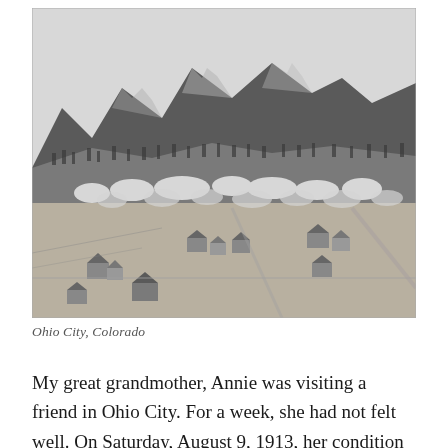[Figure (photo): Black and white aerial/elevated photograph of Ohio City, Colorado, showing scattered houses and buildings in a valley with mountains in the background and trees throughout.]
Ohio City, Colorado
My great grandmother, Annie was visiting a friend in Ohio City. For a week, she had not felt well. On Saturday, August 9, 1913, her condition changed, and